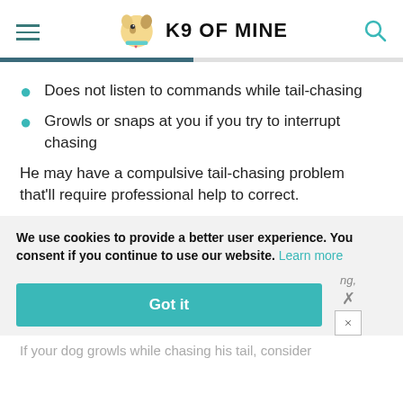K9 OF MINE
Does not listen to commands while tail-chasing
Growls or snaps at you if you try to interrupt chasing
He may have a compulsive tail-chasing problem that'll require professional help to correct.
We use cookies to provide a better user experience. You consent if you continue to use our website. Learn more
If your dog growls while chasing his tail, consider